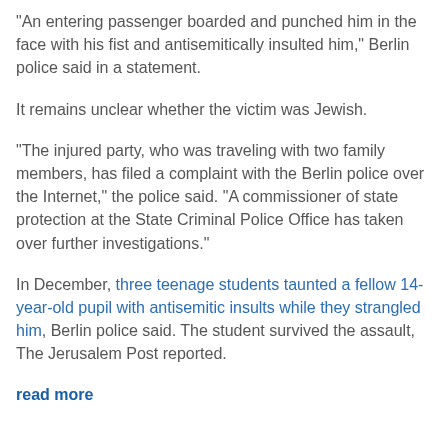“An entering passenger boarded and punched him in the face with his fist and antisemitically insulted him,” Berlin police said in a statement.
It remains unclear whether the victim was Jewish.
“The injured party, who was traveling with two family members, has filed a complaint with the Berlin police over the Internet,” the police said. “A commissioner of state protection at the State Criminal Police Office has taken over further investigations.”
In December, three teenage students taunted a fellow 14-year-old pupil with antisemitic insults while they strangled him, Berlin police said. The student survived the assault, The Jerusalem Post reported.
read more